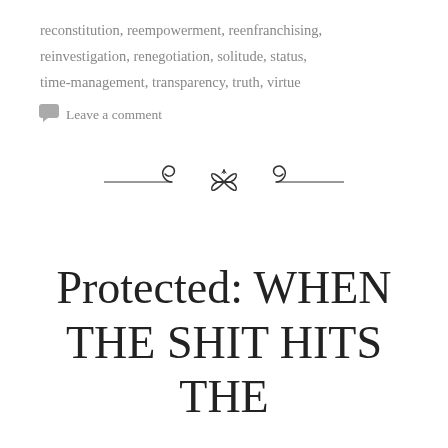reconstitution, reempowerment, reenfranchising, reinvestigation, renegotiation, solitude, status, time-management, transparency, truth, virtue
Leave a comment
[Figure (illustration): Decorative ornamental divider with scrollwork and bow design]
Protected: WHEN THE SHIT HITS THE